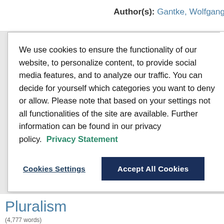Author(s): Gantke, Wolfgang
We use cookies to ensure the functionality of our website, to personalize content, to provide social media features, and to analyze our traffic. You can decide for yourself which categories you want to deny or allow. Please note that based on your settings not all functionalities of the site are available. Further information can be found in our privacy policy. Privacy Statement
Cookies Settings
Accept All Cookies
Pluralism
(4,777 words)
Author(s): Gantke, Wolfgang Friedrich | Nipkow, Karl Erns
[German Version] I. Religious Stu ineradicable diversity (Unity and d monism presupposes the unity of